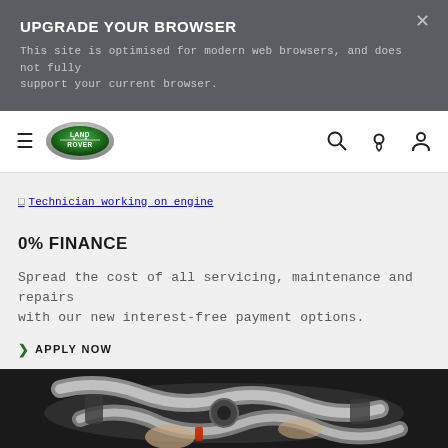UPGRADE YOUR BROWSER
This site is optimised for modern web browsers, and does not fully support your current browser.
[Figure (logo): Land Rover oval logo in green and chrome]
[Figure (photo): Broken image placeholder: Technician working on engine]
0% FINANCE
Spread the cost of all servicing, maintenance and repairs with our new interest-free payment options.
APPLY NOW
[Figure (photo): Close-up photo of a technician working on a vehicle engine with silver pipes and mechanical components]